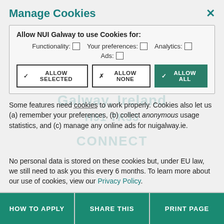Manage Cookies
[Figure (screenshot): Cookie management dialog with checkboxes for Functionality, Your preferences, Analytics, Ads, and buttons: Allow Selected, Allow None, Allow All]
Some features need cookies to work properly. Cookies also let us (a) remember your preferences, (b) collect anonymous usage statistics, and (c) manage any online ads for nuigalway.ie.
No personal data is stored on these cookies but, under EU law, we still need to ask you this every 6 months. To learn more about our use of cookies, view our Privacy Policy.
HOW TO APPLY   SHARE THIS   PRINT PAGE